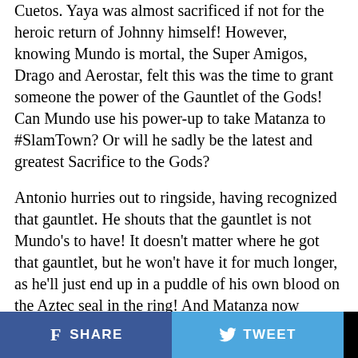Cuetos. Yaya was almost sacrificed if not for the heroic return of Johnny himself! However, knowing Mundo is mortal, the Super Amigos, Drago and Aerostar, felt this was the time to grant someone the power of the Gauntlet of the Gods! Can Mundo use his power-up to take Matanza to #SlamTown? Or will he sadly be the latest and greatest Sacrifice to the Gods?
Antonio hurries out to ringside, having recognized that gauntlet. He shouts that the gauntlet is not Mundo's to have! It doesn't matter where he got that gauntlet, but he won't have it for much longer, as he'll just end up in a puddle of his own blood on the Aztec seal in the ring! And Matanza now makes his entrance, in new ceremonial, and frightening, garb. Believers already lose their minds seeing this terrifying transformation, but the true terror will begin after the break.
SHARE   TWEET